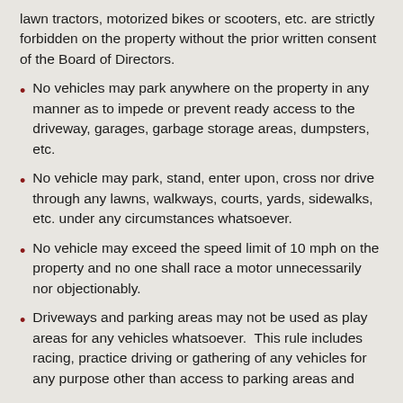lawn tractors, motorized bikes or scooters, etc. are strictly forbidden on the property without the prior written consent of the Board of Directors.
No vehicles may park anywhere on the property in any manner as to impede or prevent ready access to the driveway, garages, garbage storage areas, dumpsters, etc.
No vehicle may park, stand, enter upon, cross nor drive through any lawns, walkways, courts, yards, sidewalks, etc. under any circumstances whatsoever.
No vehicle may exceed the speed limit of 10 mph on the property and no one shall race a motor unnecessarily nor objectionably.
Driveways and parking areas may not be used as play areas for any vehicles whatsoever.  This rule includes racing, practice driving or gathering of any vehicles for any purpose other than access to parking areas and